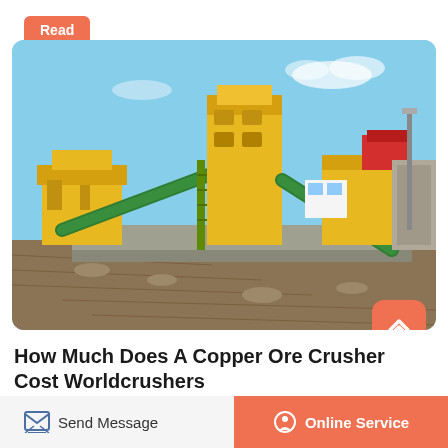Read More
[Figure (photo): Outdoor copper ore crusher / mining equipment facility with yellow and green conveyor belt systems, large industrial crushers, and gravel ground under a blue sky.]
How Much Does A Copper Ore Crusher Cost Worldcrushers
Send Message
Online Service